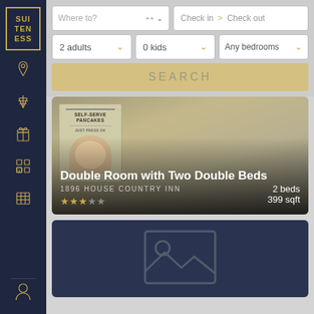[Figure (screenshot): Hotel booking app sidebar with navigation icons and logo]
Where to?
Check in > Check out
2 adults
0 kids
Any bedrooms
SEARCH
[Figure (photo): Photo of self-serve pancakes box on a counter, hotel room listing card for Double Room with Two Double Beds]
Double Room with Two Double Beds
1896 HOUSE COUNTRY INN
2 beds
399 sqft
[Figure (photo): Second hotel listing card with placeholder image (no photo available)]